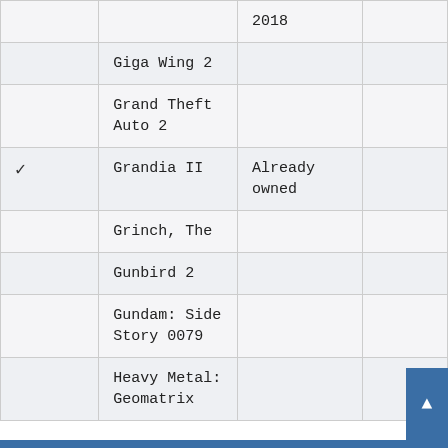|  | Title | Notes |  |
| --- | --- | --- | --- |
|  |  | 2018 |  |
|  | Giga Wing 2 |  |  |
|  | Grand Theft Auto 2 |  |  |
| ✓ | Grandia II | Already owned |  |
|  | Grinch, The |  |  |
|  | Gunbird 2 |  |  |
|  | Gundam: Side Story 0079 |  |  |
|  | Heavy Metal: Geomatrix |  |  |